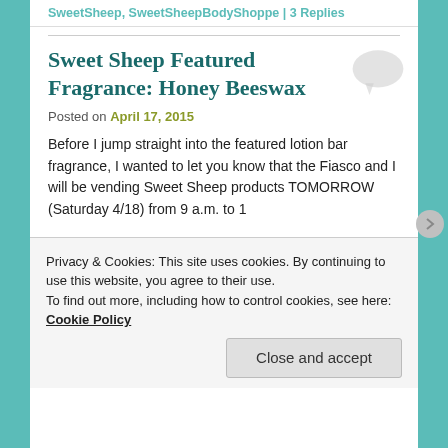SweetSheep, SweetSheepBodyShoppe | 3 Replies
Sweet Sheep Featured Fragrance: Honey Beeswax
Posted on April 17, 2015
Before I jump straight into the featured lotion bar fragrance, I wanted to let you know that the Fiasco and I will be vending Sweet Sheep products TOMORROW (Saturday 4/18) from 9 a.m. to 1
Privacy & Cookies: This site uses cookies. By continuing to use this website, you agree to their use.
To find out more, including how to control cookies, see here:
Cookie Policy
Close and accept